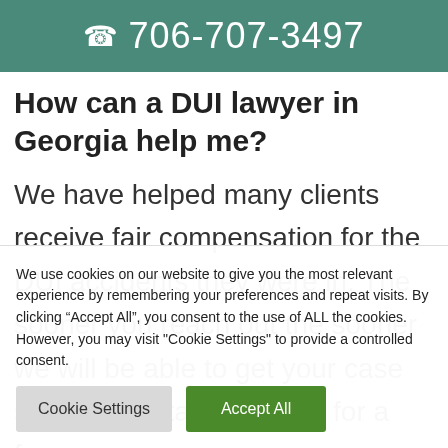706-707-3497
How can a DUI lawyer in Georgia help me?
We have helped many clients receive fair compensation for the DUI accidents they were in. The sooner you reach out the sooner we will be able to get your case started. Contact us today for a free
We use cookies on our website to give you the most relevant experience by remembering your preferences and repeat visits. By clicking “Accept All”, you consent to the use of ALL the cookies. However, you may visit "Cookie Settings" to provide a controlled consent.